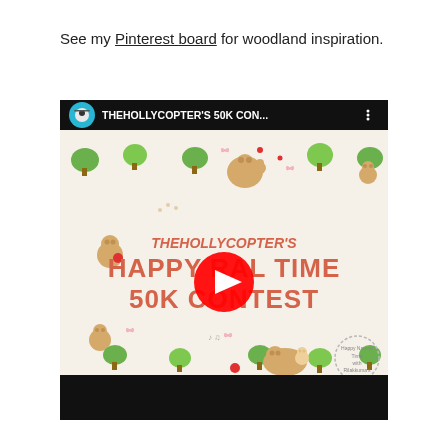See my Pinterest board for woodland inspiration.
[Figure (screenshot): Embedded YouTube video thumbnail showing 'THEHOLLYCOPTER'S 50K CON...' title bar with a circular avatar icon on the left, and the video thumbnail featuring cute bear characters (Rilakkuma) with text reading THEHOLLYCOPTER'S HAPPY RAL TIME 50K CONTEST in pink/red lettering on a decorative background with trees and animals. A large red YouTube play button is overlaid in the center.]